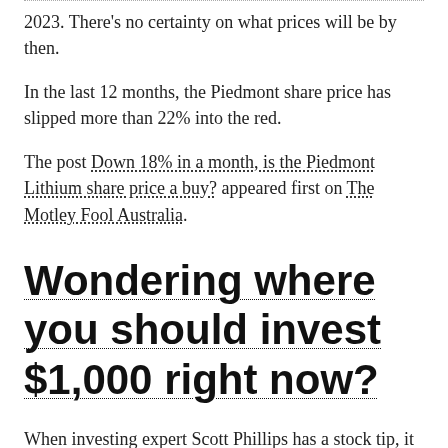2023. There's no certainty on what prices will be by then.
In the last 12 months, the Piedmont share price has slipped more than 22% into the red.
The post Down 18% in a month, is the Piedmont Lithium share price a buy? appeared first on The Motley Fool Australia.
Wondering where you should invest $1,000 right now?
When investing expert Scott Phillips has a stock tip, it can pay to listen. After all, the flagship Motley Fool Share Advisor newsletter he has run for over ten years has